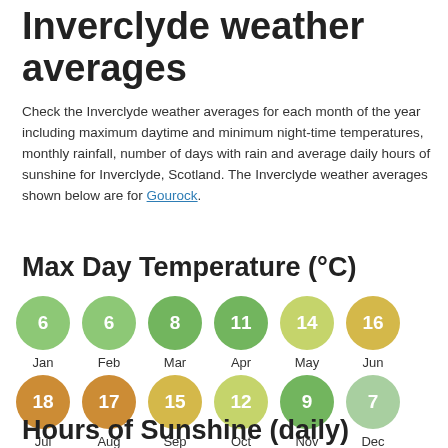Inverclyde weather averages
Check the Inverclyde weather averages for each month of the year including maximum daytime and minimum night-time temperatures, monthly rainfall, number of days with rain and average daily hours of sunshine for Inverclyde, Scotland. The Inverclyde weather averages shown below are for Gourock.
Max Day Temperature (°C)
[Figure (infographic): Two rows of colored circles showing max day temperature in °C for each month. Row 1: Jan 6 (light green), Feb 6 (light green), Mar 8 (mid green), Apr 11 (mid green), May 14 (yellow-green), Jun 16 (yellow). Row 2: Jul 18 (orange), Aug 17 (orange), Sep 15 (yellow), Oct 12 (yellow-green), Nov 9 (mid green), Dec 7 (pale green).]
Hours of Sunshine (daily)